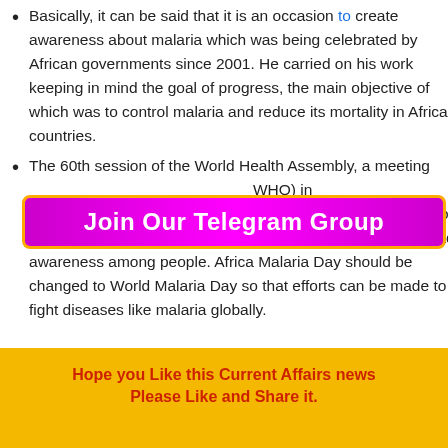Basically, it can be said that it is an occasion to create awareness about malaria which was being celebrated by African governments since 2001. He carried on his work keeping in mind the goal of progress, the main objective of which was to control malaria and reduce its mortality in African countries.
[Figure (other): Purple banner with orange border reading 'Join Our Telegram Group' in white decorative font]
The 60th session of the World Health Assembly, a meeting ... (WHO) in ... proposed World Malaria Day ... countries around the world to be aware of the existence of malaria and to create and spread awareness among people. Africa Malaria Day should be changed to World Malaria Day so that efforts can be made to fight diseases like malaria globally.
Hope you Like this Current Affairs news
Please Like and Share it.